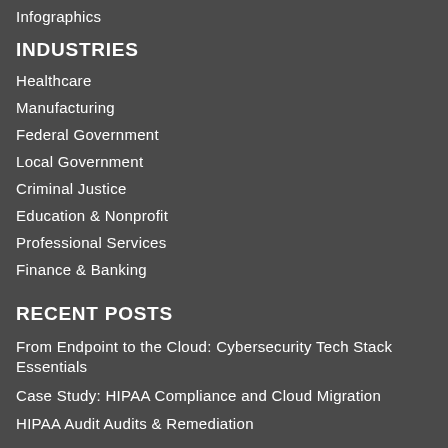Infographics
INDUSTRIES
Healthcare
Manufacturing
Federal Government
Local Government
Criminal Justice
Education & Nonprofit
Professional Services
Finance & Banking
RECENT POSTS
From Endpoint to the Cloud: Cybersecurity Tech Stack Essentials
Case Study: HIPAA Compliance and Cloud Migration
HIPAA Audit Audits & Remediation